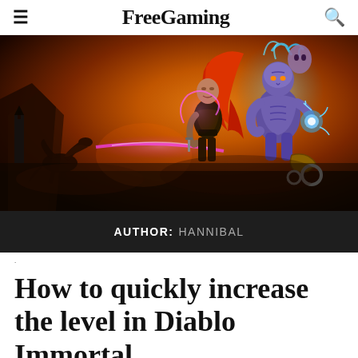FreeGaming
[Figure (illustration): Diablo Immortal game art banner showing a female warrior with red hair and a large purple demon/sorcerer with blue magical energy against a fiery dark orange background, with a dragon silhouette on the left.]
AUTHOR: HANNIBAL
How to quickly increase the level in Diablo Immortal